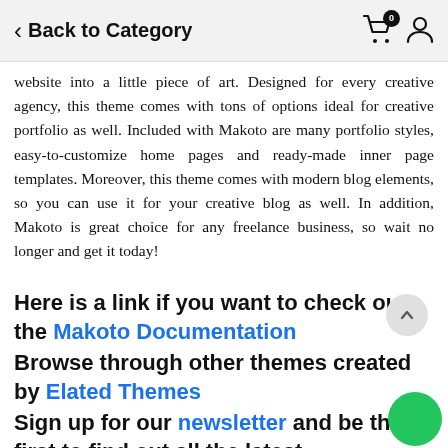Back to Category
website into a little piece of art. Designed for every creative agency, this theme comes with tons of options ideal for creative portfolio as well. Included with Makoto are many portfolio styles, easy-to-customize home pages and ready-made inner page templates. Moreover, this theme comes with modern blog elements, so you can use it for your creative blog as well. In addition, Makoto is great choice for any freelance business, so wait no longer and get it today!
Here is a link if you want to check out the Makoto Documentation
Browse through other themes created by Elated Themes
Sign up for our newsletter and be the first to find out all the latest